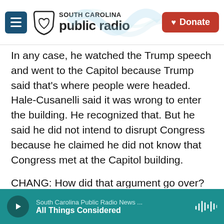[Figure (logo): South Carolina Public Radio logo with menu button and Donate button]
In any case, he watched the Trump speech and went to the Capitol because Trump said that's where people were headed. Hale-Cusanelli said it was wrong to enter the building. He recognized that. But he said he did not intend to disrupt Congress because he claimed he did not know that Congress met at the Capitol building.
CHANG: How did that argument go over?
DREISBACH: Well, he acknowledged that it sounded, quote, "idiotic" and that it was embarrassing to admit. His own lawyer said to him
[Figure (screenshot): Audio player bar: South Carolina Public Radio News ... / All Things Considered]